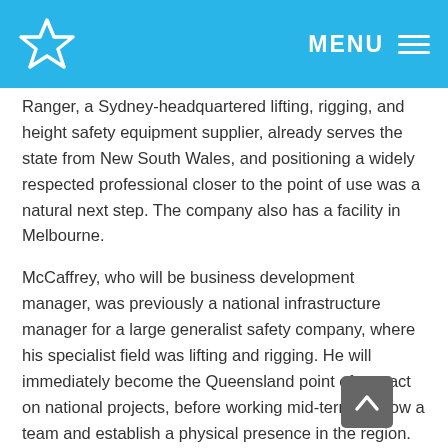MENU
Ranger, a Sydney-headquartered lifting, rigging, and height safety equipment supplier, already serves the state from New South Wales, and positioning a widely respected professional closer to the point of use was a natural next step. The company also has a facility in Melbourne.
McCaffrey, who will be business development manager, was previously a national infrastructure manager for a large generalist safety company, where his specialist field was lifting and rigging. He will immediately become the Queensland point of contact on national projects, before working mid-term to grow a team and establish a physical presence in the region. The company's comprehensive inventory in Sydney will provide necessary stock in the meantime.
Ashley Thacker, general manager, said: "Southeast